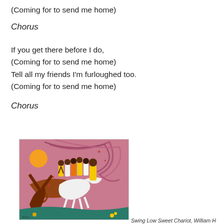(Coming for to send me home)
Chorus
If you get there before I do,
(Coming for to send me home)
Tell all my friends I'm furloughed too.
(Coming for to send me home)
Chorus
[Figure (illustration): Painting depicting 'Swing Low Sweet Chariot' — group of figures in yellow and white dresses standing on a chariot pulled by a white horse, with a bright orange sun and pink/purple swirling background. A figure in the foreground reaches up. Artwork by William H.]
Swing Low Sweet Chariot, William H